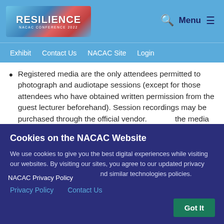[Figure (logo): RESILIENCE NACAC CONFERENCE 2022 logo with colorful background]
Q  Menu ≡
Exhibit  Contact Us  NACAC Site  Login
Registered media are the only attendees permitted to photograph and audiotape sessions (except for those attendees who have obtained written permission from the guest lecturer beforehand). Session recordings may be purchased through the official vendor. the media may obtain permission
NACAC Privacy Policy
Cookies on the NACAC Website
We use cookies to give you the best digital experiences while visiting our websites. By visiting our sites, you agree to our updated privacy and terms of use and cookies and similar technologies policies.
Privacy Policy    Contact Us
Got It